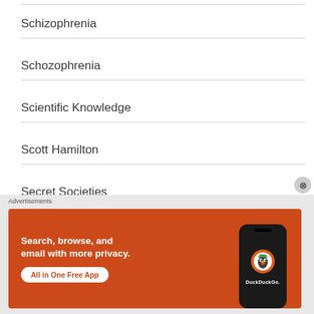Schizophrenia
Schozophrenia
Scientific Knowledge
Scott Hamilton
Secret Societies
Secret Society
[Figure (screenshot): DuckDuckGo advertisement banner: orange background with text 'Search, browse, and email with more privacy. All in One Free App' with a DuckDuckGo logo on a phone mockup on the right.]